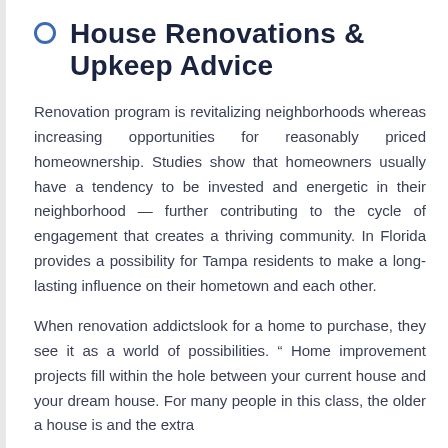House Renovations & Upkeep Advice
Renovation program is revitalizing neighborhoods whereas increasing opportunities for reasonably priced homeownership. Studies show that homeowners usually have a tendency to be invested and energetic in their neighborhood — further contributing to the cycle of engagement that creates a thriving community. In Florida provides a possibility for Tampa residents to make a long-lasting influence on their hometown and each other.
When renovation addictslook for a home to purchase, they see it as a world of possibilities. " Home improvement projects fill within the hole between your current house and your dream house. For many people in this class, the older a house is and the extra